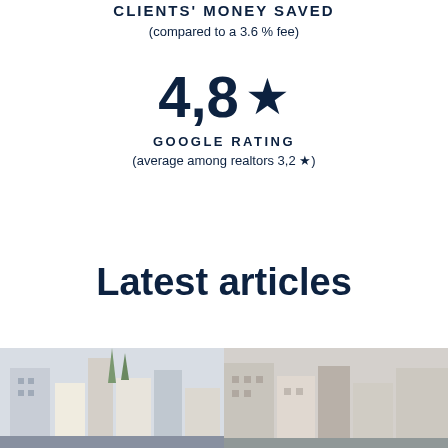CLIENTS' MONEY SAVED
(compared to a 3.6 % fee)
[Figure (infographic): Large display of 4,8 star rating with a filled star icon, label 'GOOGLE RATING', subtitle '(average among realtors 3,2 ★)']
Latest articles
[Figure (photo): Two urban street/building photographs side by side at the bottom of the page]